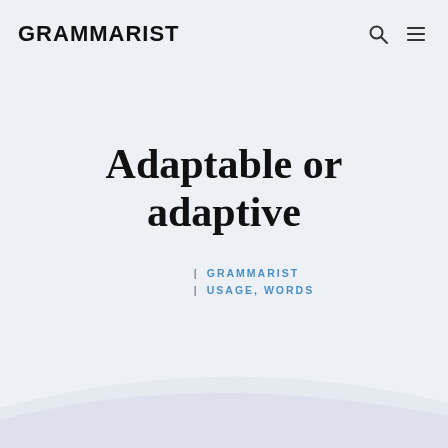GRAMMARIST
Adaptable or adaptive
| GRAMMARIST
| USAGE, WORDS